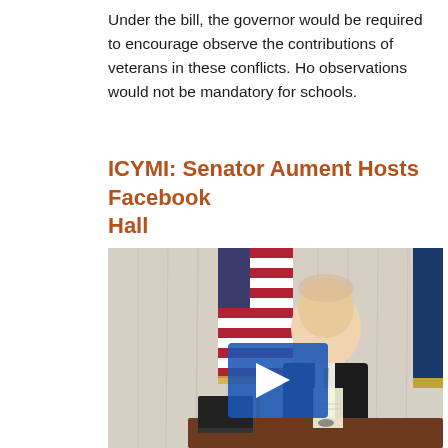Under the bill, the governor would be required to encourage observe the contributions of veterans in these conflicts. Ho observations would not be mandatory for schools.
ICYMI: Senator Aument Hosts Facebook Hall
[Figure (photo): A man in a dark suit sits at a desk in front of an American flag and another flag with yellow fringe, with white curtain draping in the background. A blue video play button overlay is centered on the image.]